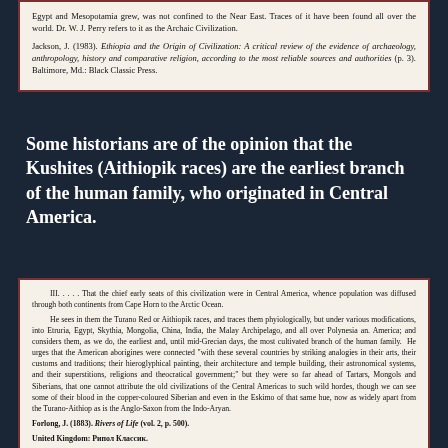Egypt and Mesopotamia grew, was not confined to the Near East. Traces of it have been found all over the world. Dr. W. J. Perry refers to it as the Archaic Civilization.
Jackson, J. (1983). Ethiopia and the Origin of Civilization: A critical review of the evidence of archaeology, anthropology, history and comparative religion, according to the most reliable sources and authorities (p. 3). Baltimore, Md.: Black Classic Press.
Some historians are of the opinion that the Kushites (Aithiopik races) are the earliest branch of the human family, who originated in Central America.
III. . . . . That the chief early seats of this civilization were in Central America, whence population was diffused through both continents from Cape Horn to the Arctic Ocean. He sees in them the Turano Red or Aithiopik races, and traces them phyiologically, but under various modifications, into Etruria, Egypt, Skythia, Mongolia, China, India, the Malay Archipelago, and all over Polynesia an. America; and considers them, as we do, the earliest and, until mid-Grecian days, the most cultivated branch of the human family. He urges that the American aborigines were connected "with these several countries by striking analogies in their arts, their customs and traditions; their hieroglyphical painting, their architecture and temple building, their astronomical systems, and their superstitions, religions and theocratical government;" but they were so far ahead of Tartars, Mongols and Siberians, that one cannot attribute the old civilizations of the Central Americas to such wild hordes, though we can see some of their blood in the copper-coloured Siberian and even in the Eskimo of that same hue, now as widely apart from the Turano-Aithiop as is the Anglo-Saxon from the Indo-Aryan.
Forlong, J. (1883). Rivers of Life (vol. 2, p. 500). United Kingdom: Рипол Классик.